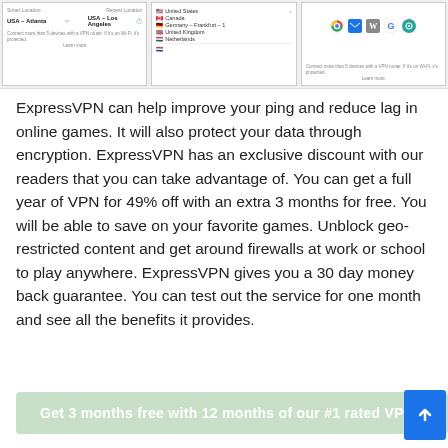[Figure (screenshot): Three screenshots of ExpressVPN app interface showing smart/recent location panels and country list (United States, Canada, Germany-Frankfurt-1, United Kingdom, Netherlands) and icons (Chrome, mail, Wikipedia, Google)]
ExpressVPN can help improve your ping and reduce lag in online games. It will also protect your data through encryption. ExpressVPN has an exclusive discount with our readers that you can take advantage of. You can get a full year of VPN for 49% off with an extra 3 months for free. You will be able to save on your favorite games. Unblock geo-restricted content and get around firewalls at work or school to play anywhere. ExpressVPN gives you a 30 day money back guarantee. You can test out the service for one month and see all the benefits it provides.
Get 3 months free with 12 months of our #1 rated VPN